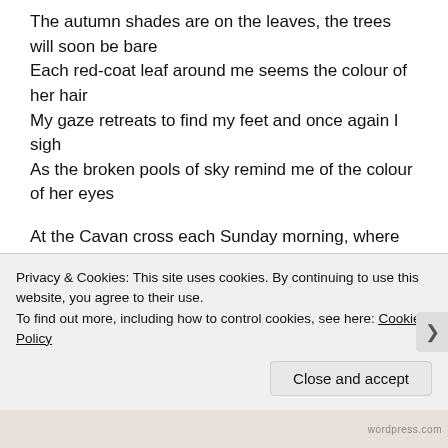The autumn shades are on the leaves, the trees will soon be bare
Each red-coat leaf around me seems the colour of her hair
My gaze retreats to find my feet and once again I sigh
As the broken pools of sky remind me of the colour of her eyes
At the Cavan cross each Sunday morning, where she can be found
And she seems to have the eye of every boy in Cavan Town
Privacy & Cookies: This site uses cookies. By continuing to use this website, you agree to their use.
To find out more, including how to control cookies, see here: Cookie Policy